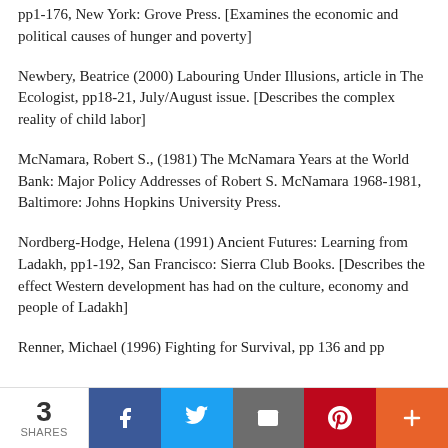pp1-176, New York: Grove Press. [Examines the economic and political causes of hunger and poverty]
Newbery, Beatrice (2000) Labouring Under Illusions, article in The Ecologist, pp18-21, July/August issue. [Describes the complex reality of child labor]
McNamara, Robert S., (1981) The McNamara Years at the World Bank: Major Policy Addresses of Robert S. McNamara 1968-1981, Baltimore: Johns Hopkins University Press.
Nordberg-Hodge, Helena (1991) Ancient Futures: Learning from Ladakh, pp1-192, San Francisco: Sierra Club Books. [Describes the effect Western development has had on the culture, economy and people of Ladakh]
Renner, Michael (1996) Fighting for Survival, pp 136 and pp
3 SHARES